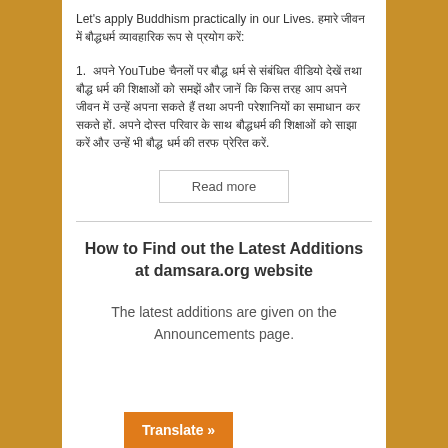Let's apply Buddhism practically in our Lives. हमारे जीवन में बौद्धधर्म व्यावहारिक रूप से प्रयोग करें:
1. अपने YouTube चैनलों पर बौद्ध धर्म से संबंधित वीडियो देखें तथा बौद्ध धर्म की शिक्षाओं को समझें और जानें कि किस तरह आप अपने जीवन में उन्हें अपना सकते हैं तथा अपनी परेशानियों का समाधान कर सकते हों. अपने दोस्त परिवार के साथ बौद्धधर्म की शिक्षाओं को साझा करें और उन्हें भी बौद्ध धर्म की तरफ प्रेरित करें.
Read more
How to Find out the Latest Additions at damsara.org website
The latest additions are given on the Announcements page.